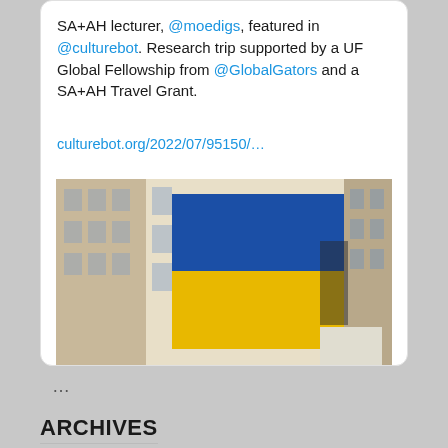SA+AH lecturer, @moedigs, featured in @culturebot. Research trip supported by a UF Global Fellowship from @GlobalGators and a SA+AH Travel Grant.
culturebot.org/2022/07/95150/...
[Figure (photo): Photo of a large Ukrainian flag (blue and yellow) draped across the facade of a multi-story building, with a clear blue sky in the background.]
...
ARCHIVES